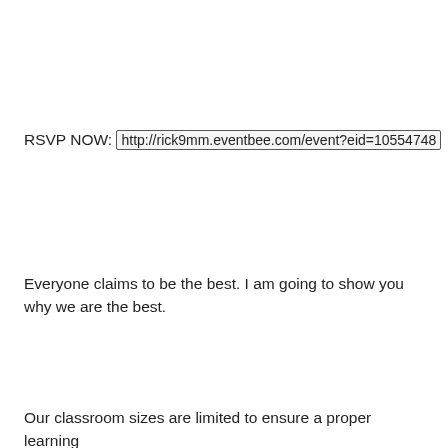RSVP NOW: http://rick9mm.eventbee.com/event?eid=10554748
Everyone claims to be the best. I am going to show you why we are the best.
Our classroom sizes are limited to ensure a proper learning